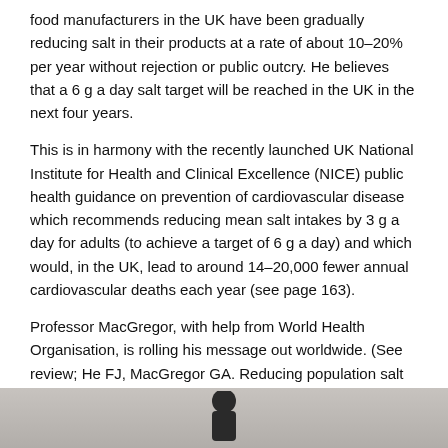food manufacturers in the UK have been gradually reducing salt in their products at a rate of about 10–20% per year without rejection or public outcry. He believes that a 6 g a day salt target will be reached in the UK in the next four years.
This is in harmony with the recently launched UK National Institute for Health and Clinical Excellence (NICE) public health guidance on prevention of cardiovascular disease which recommends reducing mean salt intakes by 3 g a day for adults (to achieve a target of 6 g a day) and which would, in the UK, lead to around 14–20,000 fewer annual cardiovascular deaths each year (see page 163).
Professor MacGregor, with help from World Health Organisation, is rolling his message out worldwide. (See review; He FJ, MacGregor GA. Reducing population salt intake worldwide; from evidence to implementation. Prog Cardiovasc Dis 2010;52:363–82. [www.onlinepcd.com]).
Leg over and blood pressure
[Figure (photo): Partial photograph showing the bottom portion of the page, appearing to show a person, cropped at the image boundary.]